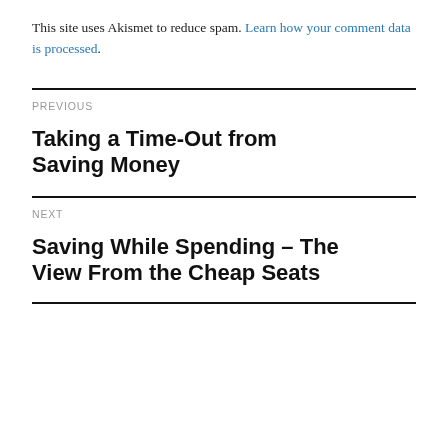This site uses Akismet to reduce spam. Learn how your comment data is processed.
Previous
Taking a Time-Out from Saving Money
Next
Saving While Spending – The View From the Cheap Seats